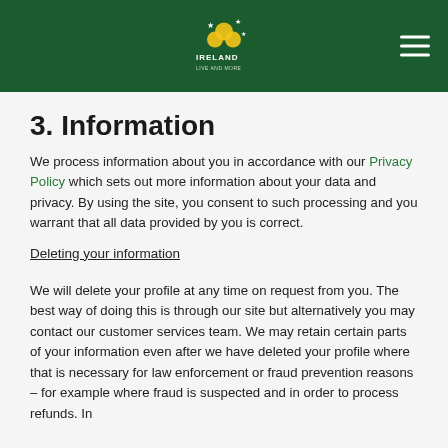Ireland [logo] — navigation header
3. Information
We process information about you in accordance with our Privacy Policy which sets out more information about your data and privacy. By using the site, you consent to such processing and you warrant that all data provided by you is correct.
Deleting your information
We will delete your profile at any time on request from you. The best way of doing this is through our site but alternatively you may contact our customer services team. We may retain certain parts of your information even after we have deleted your profile where that is necessary for law enforcement or fraud prevention reasons – for example where fraud is suspected and in order to process refunds. In